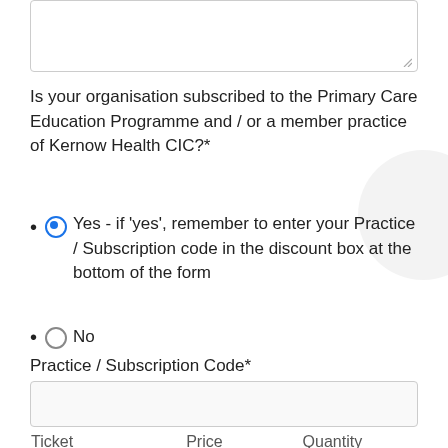Is your organisation subscribed to the Primary Care Education Programme and / or a member practice of Kernow Health CIC?*
Yes - if 'yes', remember to enter your Practice / Subscription code in the discount box at the bottom of the form
No
Practice / Subscription Code*
| Ticket | Price | Quantity |
| --- | --- | --- |
| Immunisation Foundation |  |  |